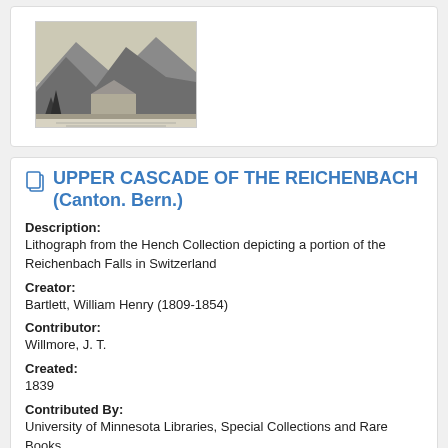[Figure (illustration): Thumbnail of a lithograph depicting a mountain scene with a building and trees, likely showing the Reichenbach Falls area in Switzerland.]
UPPER CASCADE OF THE REICHENBACH (Canton. Bern.)
Description:
Lithograph from the Hench Collection depicting a portion of the Reichenbach Falls in Switzerland
Creator:
Bartlett, William Henry (1809-1854)
Contributor:
Willmore, J. T.
Created:
1839
Contributed By:
University of Minnesota Libraries, Special Collections and Rare Books